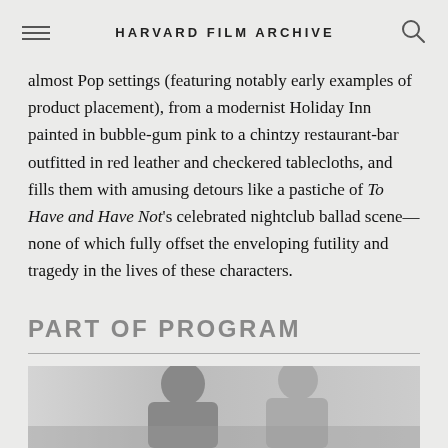HARVARD FILM ARCHIVE
almost Pop settings (featuring notably early examples of product placement), from a modernist Holiday Inn painted in bubble-gum pink to a chintzy restaurant-bar outfitted in red leather and checkered tablecloths, and fills them with amusing detours like a pastiche of To Have and Have Not's celebrated nightclub ballad scene—none of which fully offset the enveloping futility and tragedy in the lives of these characters.
PART OF PROGRAM
[Figure (photo): Black and white photograph showing a man and woman, appearing to be a still from a film]